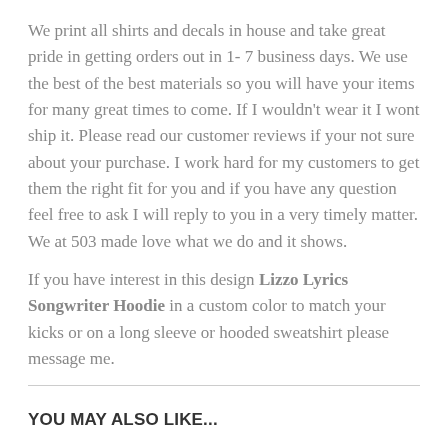We print all shirts and decals in house and take great pride in getting orders out in 1- 7 business days. We use the best of the best materials so you will have your items for many great times to come. If I wouldn't wear it I wont ship it. Please read our customer reviews if your not sure about your purchase. I work hard for my customers to get them the right fit for you and if you have any question feel free to ask I will reply to you in a very timely matter. We at 503 made love what we do and it shows.
If you have interest in this design Lizzo Lyrics Songwriter Hoodie in a custom color to match your kicks or on a long sleeve or hooded sweatshirt please message me.
YOU MAY ALSO LIKE...